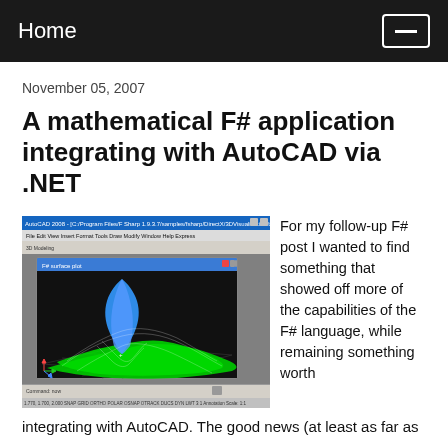Home
November 05, 2007
A mathematical F# application integrating with AutoCAD via .NET
[Figure (screenshot): AutoCAD 2008 window showing a 3D surface plot rendered with F#, displaying a wavy green and blue mathematical surface on a dark grid background. A sub-window titled 'F# surface plot' is visible. The AutoCAD interface shows toolbars, menus, and a command line at the bottom.]
For my follow-up F# post I wanted to find something that showed off more of the capabilities of the F# language, while remaining something worth integrating with AutoCAD. The good news (at least as far as